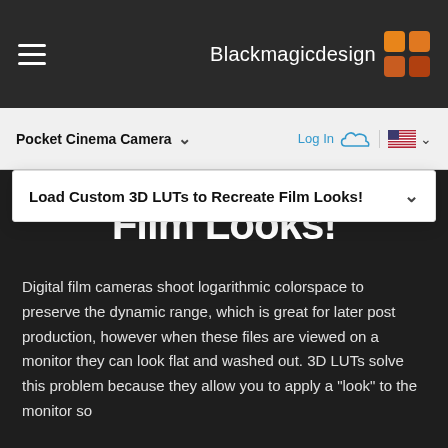Blackmagicdesign
Pocket Cinema Camera
Load Custom 3D LUTs to Recreate Film Looks!
Digital film cameras shoot logarithmic colorspace to preserve the dynamic range, which is great for later post production, however when these files are viewed on a monitor they can look flat and washed out. 3D LUTs solve this problem because they allow you to apply a "look" to the monitor so